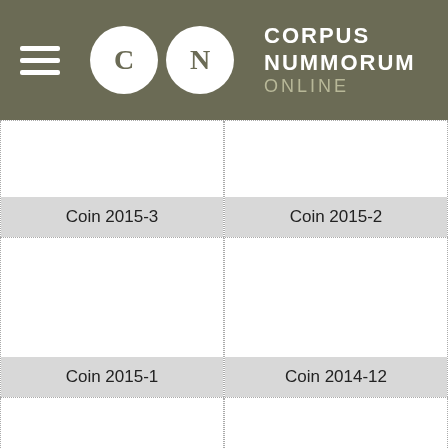CORPUS NUMMORUM ONLINE
[Figure (other): Empty coin image placeholder for Coin 2015-3]
Coin 2015-3
[Figure (other): Empty coin image placeholder for Coin 2015-2]
Coin 2015-2
[Figure (other): Empty coin image placeholder for Coin 2015-1]
Coin 2015-1
[Figure (other): Empty coin image placeholder for Coin 2014-12]
Coin 2014-12